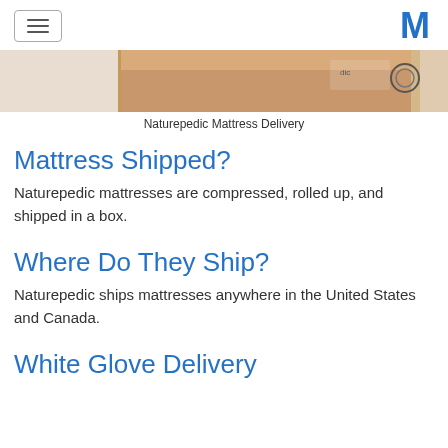[Figure (photo): Partial view of a Naturepedic mattress delivery box, cardboard packaging shown at the top of the page]
Naturepedic Mattress Delivery
Mattress Shipped?
Naturepedic mattresses are compressed, rolled up, and shipped in a box.
Where Do They Ship?
Naturepedic ships mattresses anywhere in the United States and Canada.
White Glove Delivery